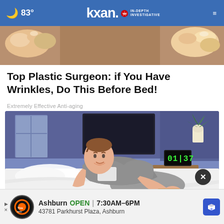83° kxan IN-DEPTH INVESTIGATIVE
[Figure (photo): Close-up photo strip showing what appears to be skin/fingers, used as article thumbnail header image]
Top Plastic Surgeon: if You Have Wrinkles, Do This Before Bed!
Extremely Effective Anti-aging
[Figure (illustration): Animated illustration of a man sitting in bed at night, applying something to his ankle. A clock showing 01:37 and a plant are visible on a nightstand in the background.]
Ashburn  OPEN  7:30AM–6PM
43781 Parkhurst Plaza, Ashburn